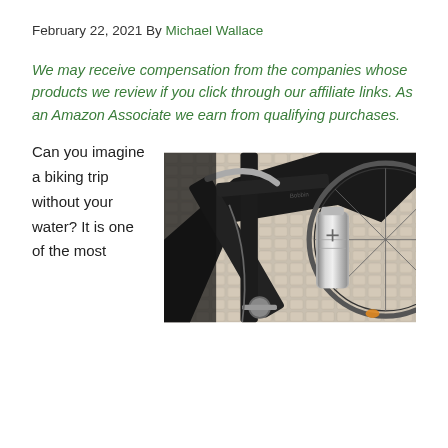February 22, 2021 By Michael Wallace
We may receive compensation from the companies whose products we review if you click through our affiliate links. As an Amazon Associate we earn from qualifying purchases.
Can you imagine a biking trip without your water? It is one of the most
[Figure (photo): Close-up photograph of a bicycle frame with a stainless steel water bottle mounted to it, cobblestone background visible]